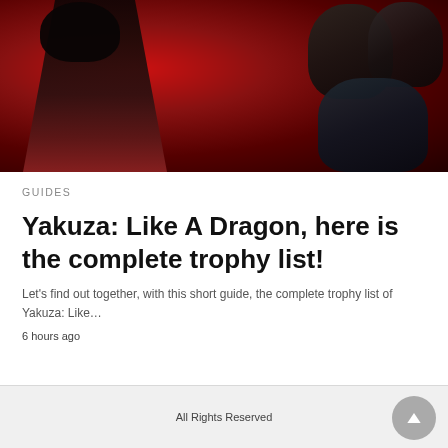[Figure (photo): Promotional image for Yakuza: Like A Dragon video game showing characters against a red background. A main character with an afro is prominent on the left, with three other male characters visible on the right side.]
GUIDES
Yakuza: Like A Dragon, here is the complete trophy list!
Let's find out together, with this short guide, the complete trophy list of Yakuza: Like…
6 hours ago
All Rights Reserved